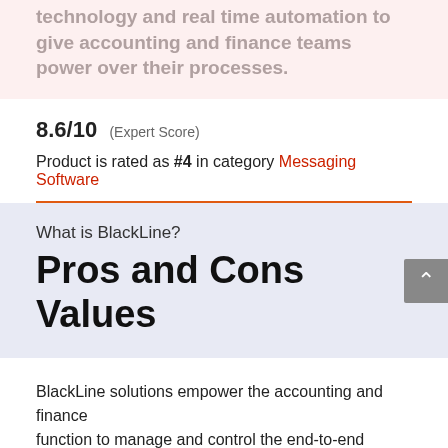technology and real time automation to give accounting and finance teams power over their processes.
8.6/10 (Expert Score)
Product is rated as #4 in category Messaging Software
What is BlackLine?
Pros and Cons Values
BlackLine solutions empower the accounting and finance function to manage and control the end-to-end financial